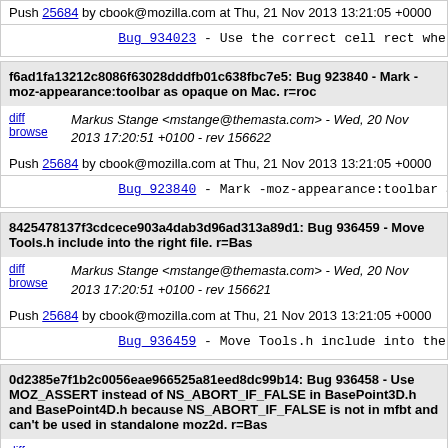Push 25684 by cbook@mozilla.com at Thu, 21 Nov 2013 13:21:05 +0000
Bug_934023 - Use the correct cell rect when dra…
f6ad1fa13212c8086f63028dddfb01c638fbc7e5: Bug 923840 - Mark -moz-appearance:toolbar as opaque on Mac. r=roc
diff browse  Markus Stange <mstange@themasta.com> - Wed, 20 Nov 2013 17:20:51 +0100 - rev 156622
Push 25684 by cbook@mozilla.com at Thu, 21 Nov 2013 13:21:05 +0000
Bug_923840 - Mark -moz-appearance:toolbar as opa…
8425478137f3cdcece903a4dab3d96ad313a89d1: Bug 936459 - Move Tools.h include into the right file. r=Bas
diff browse  Markus Stange <mstange@themasta.com> - Wed, 20 Nov 2013 17:20:51 +0100 - rev 156621
Push 25684 by cbook@mozilla.com at Thu, 21 Nov 2013 13:21:05 +0000
Bug_936459 - Move Tools.h include into the righ…
0d2385e7f1b2c0056eae966525a81eed8dc99b14: Bug 936458 - Use MOZ_ASSERT instead of NS_ABORT_IF_FALSE in BasePoint3D.h and BasePoint4D.h because NS_ABORT_IF_FALSE is not in mfbt and can't be used in standalone moz2d. r=Bas
diff browse  Markus Stange <mstange@themasta.com> - Wed, 20 Nov 2013 17:20:50 +0100 - rev 156620